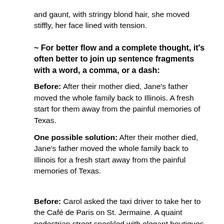and gaunt, with stringy blond hair, she moved stiffly, her face lined with tension.
~ For better flow and a complete thought, it's often better to join up sentence fragments with a word, a comma, or a dash:
Before: After their mother died, Jane's father moved the whole family back to Illinois. A fresh start for them away from the painful memories of Texas.
One possible solution: After their mother died, Jane's father moved the whole family back to Illinois for a fresh start away from the painful memories of Texas.
Before: Carol asked the taxi driver to take her to the Café de Paris on St. Jermaine. A quaint pedestrian street speckled with elegant boutiques and chic cafes.
After: Carol asked the taxi driver to take her to the Café de